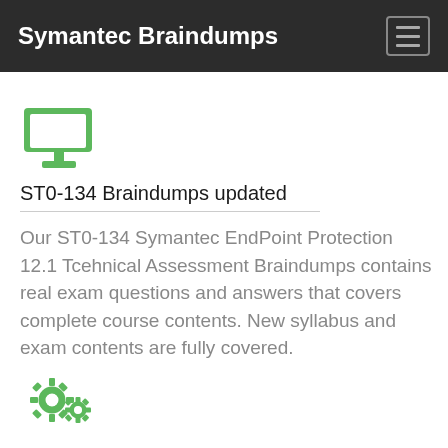Symantec Braindumps
[Figure (illustration): Green monitor/desktop computer icon]
ST0-134 Braindumps updated
Our ST0-134 Symantec EndPoint Protection 12.1 Tcehnical Assessment Braindumps contains real exam questions and answers that covers complete course contents. New syllabus and exam contents are fully covered.
[Figure (illustration): Green gear/settings icons]